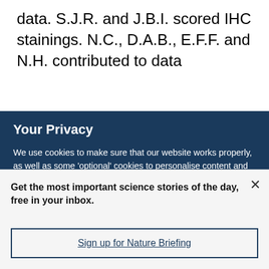data. S.J.R. and J.B.I. scored IHC stainings. N.C., D.A.B., E.F.F. and N.H. contributed to data
Your Privacy
We use cookies to make sure that our website works properly, as well as some ‘optional’ cookies to personalise content and advertising, provide social media features and analyse how people use our site. By accepting some or all optional cookies you give consent to the processing of your personal data, including transfer to third parties, some in countries outside of the European Economic Area that do not offer the same data protection standards as the country where you live. You can decide which optional cookies to accept by clicking on ‘Manage Settings’, where you can
Get the most important science stories of the day, free in your inbox.
Sign up for Nature Briefing